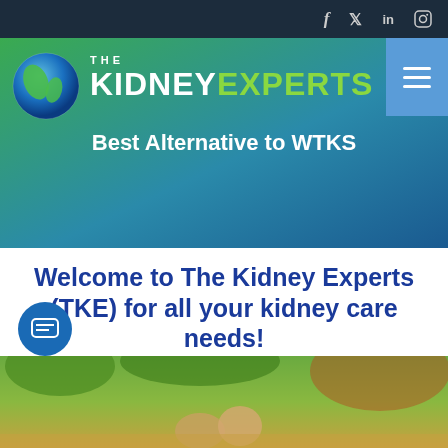f  𝕏  in  ⊙
[Figure (screenshot): The Kidney Experts website header with globe logo, KIDNEY in white and EXPERTS in green, hamburger menu, and gradient green-to-blue background]
Best Alternative to WTKS
Welcome to The Kidney Experts (TKE) for all your kidney care needs!
[Figure (photo): People outdoors under trees, bottom of page]